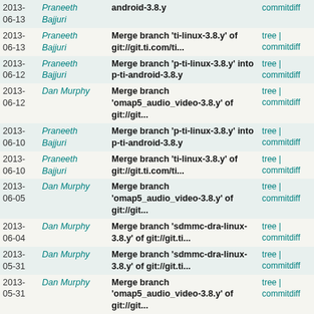| Date | Author | Commit message | Links |
| --- | --- | --- | --- |
| 2013-06-13 | Praneeth Bajjuri | android-3.8.y | commitdiff |
| 2013-06-13 | Praneeth Bajjuri | Merge branch 'ti-linux-3.8.y' of git://git.ti.com/ti... | tree | commitdiff |
| 2013-06-12 | Praneeth Bajjuri | Merge branch 'p-ti-linux-3.8.y' into p-ti-android-3.8.y | tree | commitdiff |
| 2013-06-12 | Dan Murphy | Merge branch 'omap5_audio_video-3.8.y' of git://git... | tree | commitdiff |
| 2013-06-10 | Praneeth Bajjuri | Merge branch 'p-ti-linux-3.8.y' into p-ti-android-3.8.y | tree | commitdiff |
| 2013-06-10 | Praneeth Bajjuri | Merge branch 'ti-linux-3.8.y' of git://git.ti.com/ti... | tree | commitdiff |
| 2013-06-05 | Dan Murphy | Merge branch 'omap5_audio_video-3.8.y' of git://git... | tree | commitdiff |
| 2013-06-04 | Dan Murphy | Merge branch 'sdmmc-dra-linux-3.8.y' of git://git.ti... | tree | commitdiff |
| 2013-05-31 | Dan Murphy | Merge branch 'sdmmc-dra-linux-3.8.y' of git://git.ti... | tree | commitdiff |
| 2013-05-31 | Dan Murphy | Merge branch 'omap5_audio_video-3.8.y' of git://git... | tree | commitdiff |
| 2013-05-30 | Dan Murphy | Merge branch 'pm-linux-2.8.y' of git://git.ti.com/... | tree | commitdiff |
| 2013-05-21 | Dan Murphy | Merge branch 'platform-base-3.8.y' of git://git.ti... | tree | commitdiff |
| 2013-05-13 | Dan Murphy | Merge tag 'v3.8.13' of git./linux/kernel/git/stable... | tree | commitdiff |
| 2013-05-11 | Trond Myklebust | NFSv4.x: Fix handling of partially delegated locks | tree | commitdiff |
| 2013- | Josef Bacik | Btrfs: fix extent logging with O_DIRECT | tree | |